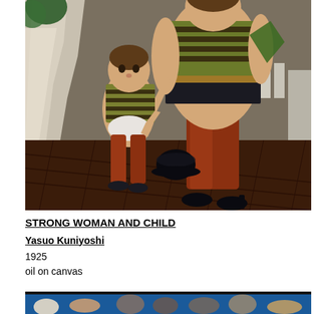[Figure (photo): Painting by Yasuo Kuniyoshi titled 'Strong Woman and Child' (1925). Oil on canvas showing a large woman in striped top and red tights standing with a small child also in a striped shirt and red tights. A black hat is on the dark wooden floor. Background shows a landscape with a waterfall on the left and buildings on the right.]
STRONG WOMAN AND CHILD
Yasuo Kuniyoshi
1925
oil on canvas
[Figure (photo): Partial view of another painting showing figures against a bright blue background, partially cropped at the bottom of the page.]